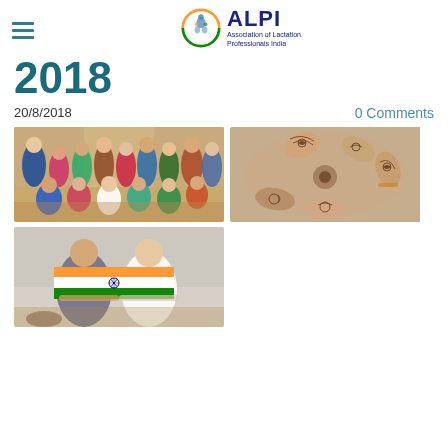ALPI - Association of Lactation Professionals India
2018
20/8/2018    0 Comments
[Figure (photo): Group photo of women at a conference/event, posing together in a hotel ballroom]
[Figure (photo): Multiple hands with henna/mehndi designs gathered together in a circle]
[Figure (photo): Two women holding an Indian national flag (tricolor) and smiling]